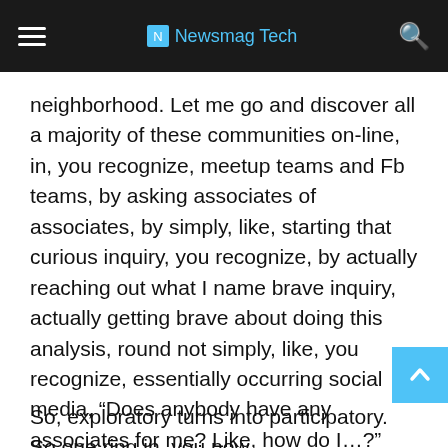Newsmag Tech
neighborhood. Let me go and discover all a majority of these communities on-line, in, you recognize, meetup teams and Fb teams, by asking associates of associates, by simply, like, starting that curious inquiry, you recognize, by actually reaching out what I name brave inquiry, actually getting brave about doing this analysis, round not simply, like, you recognize, essentially occurring social media, “Does anybody have any associates for me? Like, how do I…?” You recognize, it's like actually taking time to analysis and seeing what communities exist in my space or on-line that I can actually start aligning with, that align with the qualities I’m searching for in a pal, or as I say in my e-book, the values, pursuits, and talents that I would like in my very own life.
So, exploratory turns into participatory. So one ring in, you now